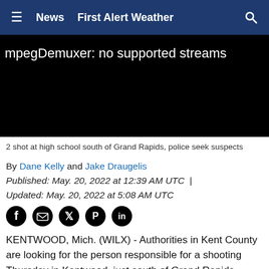≡  News  First Alert Weather  🔍
[Figure (screenshot): Video player showing error message: mpegDemuxer: no supported streams on black background]
2 shot at high school south of Grand Rapids, police seek suspects
By Dane Kelly and Jake Draugelis
Published: May. 20, 2022 at 12:39 AM UTC  |
Updated: May. 20, 2022 at 5:08 AM UTC
[Figure (infographic): Social share icons: Facebook, Email, Twitter, Pinterest, LinkedIn]
KENTWOOD, Mich. (WILX) - Authorities in Kent County are looking for the person responsible for a shooting Thursday in Kentwood, just south of Grand Rapids.
The Kent County Sheriff's Office confirmed two people had